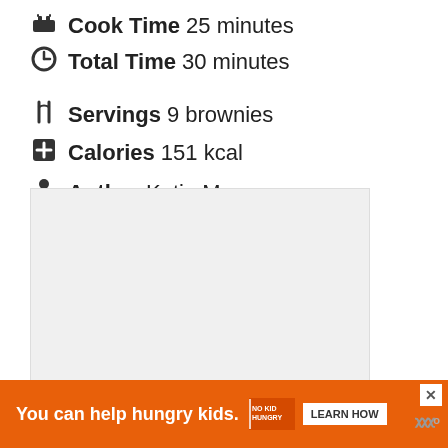Cook Time 25 minutes
Total Time 30 minutes
Servings 9 brownies
Calories 151 kcal
Author Katie Moseman
[Figure (other): Gray placeholder box with three dots indicating loading content (advertisement)]
You can help hungry kids. NO KID HUNGRY LEARN HOW